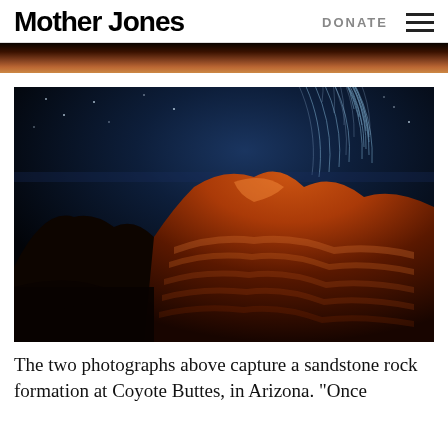Mother Jones | DONATE
[Figure (photo): Top strip showing warm orange and brown tones of a rock formation]
[Figure (photo): Long-exposure night photograph of The Wave sandstone rock formation at Coyote Buttes, Arizona, showing star trails in a blue night sky above dramatically lit red and orange layered sandstone]
The two photographs above capture a sandstone rock formation at Coyote Buttes, in Arizona. “Once